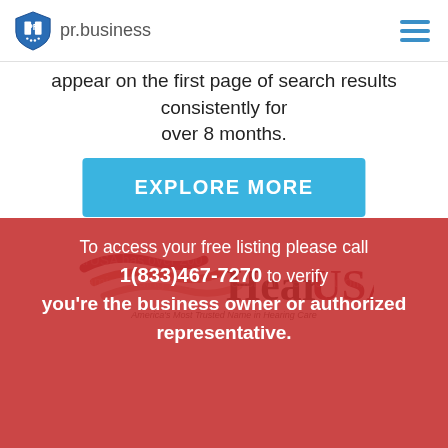pr.business
appear on the first page of search results consistently for over 8 months.
EXPLORE MORE
[Figure (logo): HearUSA logo — America's Most Trusted Name in Hearing Care]
To access your free listing please call 1(833)467-7270 to verify you're the business owner or authorized representative.
HearUSA has over 200 locations nationwide and with dynamic landing pages for each of their local offices they faced a challenge when it came to optimizing for local SEO. Within 30 days of utilizing their Business Profile Pages as local landing pages, they saw 1st page results on Google and other search engines.